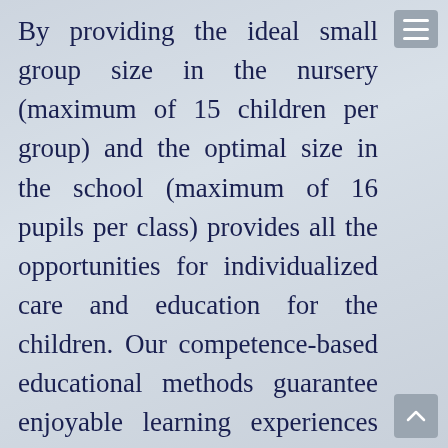By providing the ideal small group size in the nursery (maximum of 15 children per group) and the optimal size in the school (maximum of 16 pupils per class) provides all the opportunities for individualized care and education for the children. Our competence-based educational methods guarantee enjoyable learning experiences and serve the ideology of successful and meaningful 21st century learning and teaching journeys. Avalon International School provides Early Years Foundation Stage (EYFS) British educational programme as it is promoted by National Day Nurseries Association; meanwhile the